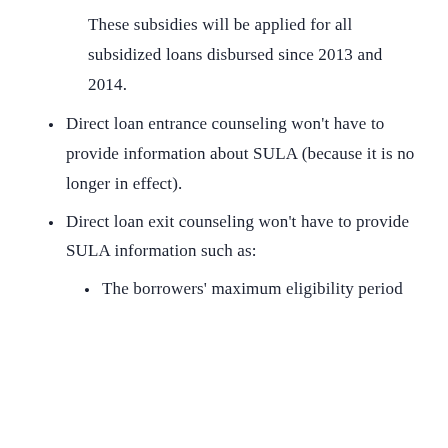These subsidies will be applied for all subsidized loans disbursed since 2013 and 2014.
Direct loan entrance counseling won't have to provide information about SULA (because it is no longer in effect).
Direct loan exit counseling won't have to provide SULA information such as:
The borrowers' maximum eligibility period